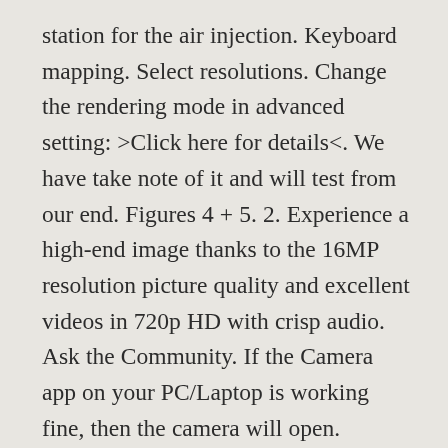station for the air injection. Keyboard mapping. Select resolutions. Change the rendering mode in advanced setting: >Click here for details<. We have take note of it and will test from our end. Figures 4 + 5. 2. Experience a high-end image thanks to the 16MP resolution picture quality and excellent videos in 720p HD with crisp audio. Ask the Community. If the Camera app on your PC/Laptop is working fine, then the camera will open. Camera. Multi-instance manager. Search for ‘Camera’ in the start menu. How to enable the high performance NVIDIA graphics card, 5. support. Download Best Camera PC for free at BrowserCam. Here’s how to lower the resolution: Open your camera application. 4. 3.12 Control support: camera and